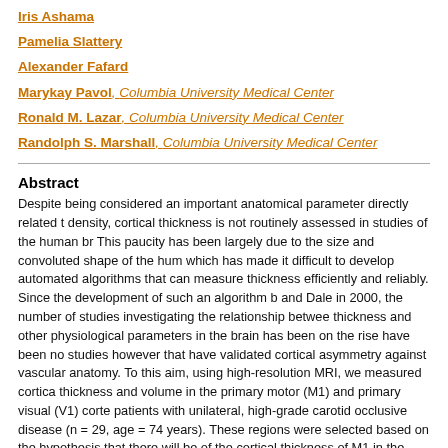Iris Ashama
Pamelia Slattery
Alexander Fafard
Marykay Pavol, Columbia University Medical Center
Ronald M. Lazar, Columbia University Medical Center
Randolph S. Marshall, Columbia University Medical Center
Abstract
Despite being considered an important anatomical parameter directly related to density, cortical thickness is not routinely assessed in studies of the human brain. This paucity has been largely due to the size and convoluted shape of the human brain, which has made it difficult to develop automated algorithms that can measure cortical thickness efficiently and reliably. Since the development of such an algorithm by Fischl and Dale in 2000, the number of studies investigating the relationship between cortical thickness and other physiological parameters in the brain has been on the rise. There have been no studies however that have validated cortical asymmetry against the underlying vascular anatomy. To this aim, using high-resolution MRI, we measured cortical thickness and volume in the primary motor (M1) and primary visual (V1) cortex in patients with unilateral, high-grade carotid occlusive disease (n = 29, age = 74 ± 9 years). These regions were selected based on the hypothesis that there will be asymmetry of the cortical thickness of M1 in the territory supplied by the occluded carotid artery, whereas V1 will show no asymmetry since its blood supply is provided by unaffected posterior arteries. To test for an effect of handedness, cortical thickness and volume were also measured in healthy volunteers (n = 8, age = 37 ± 13 years). In patients, we found thinner cortex in M1 on the occluded side (mean = 2.07 ± 0.19 mm vs 2...